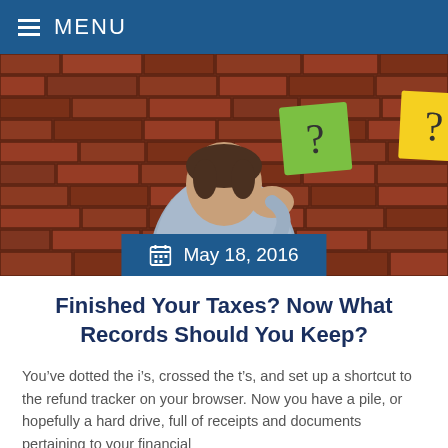MENU
[Figure (photo): Person facing a brick wall with colorful sticky notes with question marks on them, viewed from behind, scratching their head in confusion.]
May 18, 2016
Finished Your Taxes? Now What Records Should You Keep?
You’ve dotted the i’s, crossed the t’s, and set up a shortcut to the refund tracker on your browser. Now you have a pile, or hopefully a hard drive, full of receipts and documents pertaining to your financial